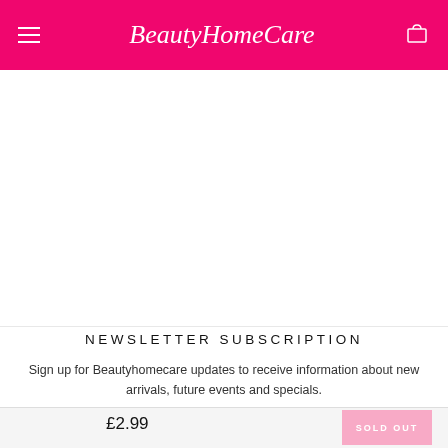BeautyHomeCare
NEWSLETTER SUBSCRIPTION
Sign up for Beautyhomecare updates to receive information about new arrivals, future events and specials.
£2.99
SOLD OUT